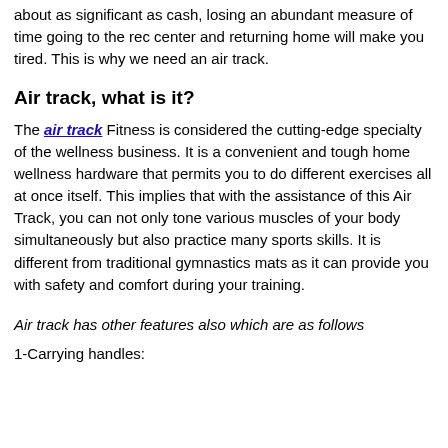about as significant as cash, losing an abundant measure of time going to the rec center and returning home will make you tired. This is why we need an air track.
Air track, what is it?
The air track Fitness is considered the cutting-edge specialty of the wellness business. It is a convenient and tough home wellness hardware that permits you to do different exercises all at once itself. This implies that with the assistance of this Air Track, you can not only tone various muscles of your body simultaneously but also practice many sports skills. It is different from traditional gymnastics mats as it can provide you with safety and comfort during your training.
Air track has other features also which are as follows
1-Carrying handles: